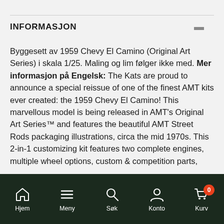INFORMASJON
Byggesett av 1959 Chevy El Camino (Original Art Series) i skala 1/25. Maling og lim følger ikke med. Mer informasjon på Engelsk: The Kats are proud to announce a special reissue of one of the finest AMT kits ever created: the 1959 Chevy El Camino! This marvellous model is being released in AMT's Original Art Series™ and features the beautiful AMT Street Rods packaging illustrations, circa the mid 1970s. This 2-in-1 customizing kit features two complete engines, multiple wheel options, custom & competition parts, gleaming chrome, padprinted tires and more! Full-color customizing decals and an art print suitable for framing are included, along with…
Hjem  Meny  Søk  Konto  Kurv  0